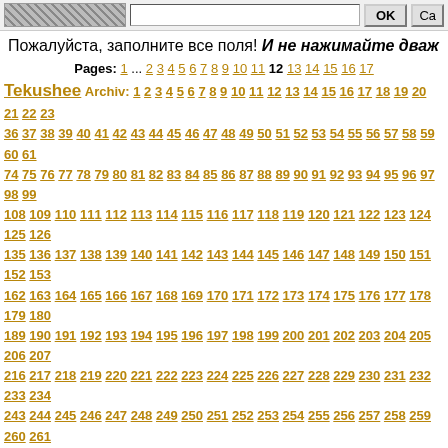[image] [input] OK Ca
Пожалуйста, заполните все поля! И не нажимайте дваж
Pages: 1 ... 2 3 4 5 6 7 8 9 10 11 12 13 14 15 16 17
Tekushee Archiv: 1 2 3 4 5 6 7 8 9 10 11 12 13 14 15 16 17 18 19 20 21 22 23 36 37 38 39 40 41 42 43 44 45 46 47 48 49 50 51 52 53 54 55 56 57 58 59 60 61 74 75 76 77 78 79 80 81 82 83 84 85 86 87 88 89 90 91 92 93 94 95 96 97 98 99 108 109 110 111 112 113 114 115 116 117 118 119 120 121 122 123 124 125 126 135 136 137 138 139 140 141 142 143 144 145 146 147 148 149 150 151 152 153 162 163 164 165 166 167 168 169 170 171 172 173 174 175 176 177 178 179 180 189 190 191 192 193 194 195 196 197 198 199 200 201 202 203 204 205 206 207 216 217 218 219 220 221 222 223 224 225 226 227 228 229 230 231 232 233 234 243 244 245 246 247 248 249 250 251 252 253 254 255 256 257 258 259 260 261 270 271 272 273 274 275 276 277 278 279 280 281 282 283 284 285 286 287 288 297 298 299 300 301 302 303 304 305 306 307 308 309 310 311 312 313 314 315 324 325 326 327 328 329 330 331 332 333 334 335 336 337 338 339 340 341 342 351 352 353 354 355 356 357 358 359 360 361 362 363 364 365 366 367 368 369 378 379 380 381 382 383 384 385 386 387 388 389 390 391 392 393 394 395 396 405 406 407 408 409 410 411 412 413 414 415 416 417 418 419 420 421 422 423 432 433 434 435 436 437 438 439 440 441 442 443 444 445 446 447 448 449 450 459 460 461 462 463 464 465 466 467 468 469 470 471 472 473 474 475 476 477 486 487 488 489 490 491 492 493 494 495 496 497 498 499 500 501 502 503 504 513 514 515 516 517 518 519 520 521 522 523 524 525 526 527 528 529 530 531 540 541 542 543 544 545 546 547 548 549 550 551 552 553 554 555 556 557 558 567 568 569 570 571 572 573 574 575 576 577 578 579 580 581 582 583 584 585 594 595 596 597 598 599 600 601 602 603 604 605 606 607 608 609 610 611 612 621 622 623 624 625 626 627 628 629 630 631 632 633 634 635 636 637 638